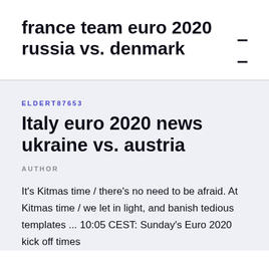france team euro 2020 russia vs. denmark
ELDERT87653
Italy euro 2020 news ukraine vs. austria
AUTHOR
It's Kitmas time / there's no need to be afraid. At Kitmas time / we let in light, and banish tedious templates ... 10:05 CEST: Sunday's Euro 2020 kick off times